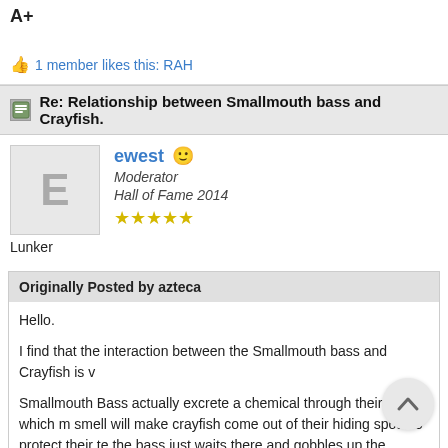A+
1 member likes this: RAH
Re: Relationship between Smallmouth bass and Crayfish.
ewest
Moderator
Hall of Fame 2014
★★★★★
Lunker
Originally Posted by azteca

Hello.

I find that the interaction between the Smallmouth bass and Crayfish is

Smallmouth Bass actually excrete a chemical through their skin, which smell will make crayfish come out of their hiding spots to protect their te the bass just waits there and gobbles up the unsuspecting crustacean.